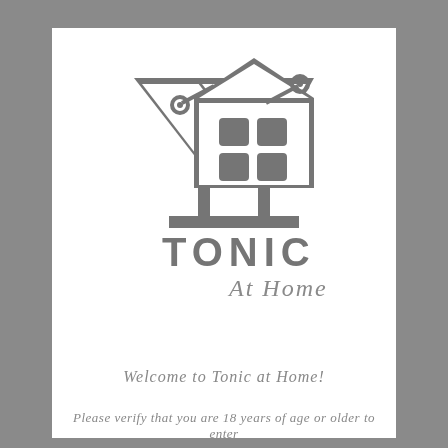[Figure (logo): Tonic at Home logo: two martini glasses with olives on cocktail picks, overlapping with a house silhouette in the center showing a 2x2 window grid. Below the glasses, bold uppercase letters 'TONIC' followed by italic script 'At Home'.]
Welcome to Tonic at Home!
Please verify that you are 18 years of age or older to enter